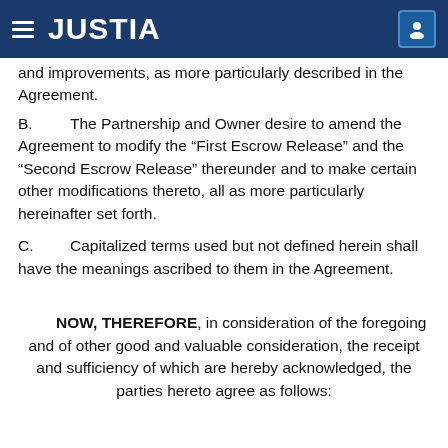JUSTIA
and improvements, as more particularly described in the Agreement.
B. The Partnership and Owner desire to amend the Agreement to modify the “First Escrow Release” and the “Second Escrow Release” thereunder and to make certain other modifications thereto, all as more particularly hereinafter set forth.
C. Capitalized terms used but not defined herein shall have the meanings ascribed to them in the Agreement.
NOW, THEREFORE, in consideration of the foregoing and of other good and valuable consideration, the receipt and sufficiency of which are hereby acknowledged, the parties hereto agree as follows: